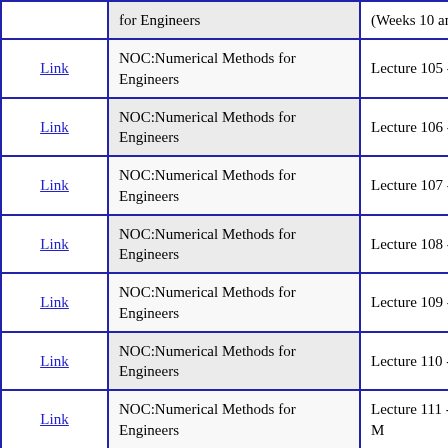|  | Course | Lecture |
| --- | --- | --- |
| Link | NOC:Numerical Methods for Engineers | (Weeks 10 and 11) |
| Link | NOC:Numerical Methods for Engineers | Lecture 105 - Introduction BVP |
| Link | NOC:Numerical Methods for Engineers | Lecture 106 - Shooting M Overview |
| Link | NOC:Numerical Methods for Engineers | Lecture 107 - Finite Diffe Method: An Overview |
| Link | NOC:Numerical Methods for Engineers | Lecture 108 - Solution usi Shooting Method |
| Link | NOC:Numerical Methods for Engineers | Lecture 109 - Algorithm f Shooting Method |
| Link | NOC:Numerical Methods for Engineers | Lecture 110 - Problems w Shooting Method |
| Link | NOC:Numerical Methods for Engineers | Lecture 111 - Solving OD using Finite Difference M |
| Link | NOC:Numerical Methods for Engineers | Lecture 112 - Microsoft E based Solution |